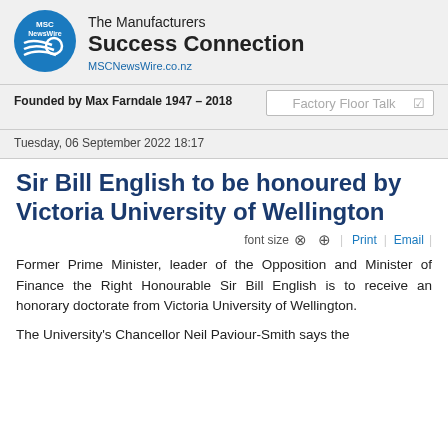The Manufacturers Success Connection
MSCNewsWire.co.nz
Founded by Max Farndale 1947 – 2018
Tuesday, 06 September 2022 18:17
Sir Bill English to be honoured by Victoria University of Wellington
Former Prime Minister, leader of the Opposition and Minister of Finance the Right Honourable Sir Bill English is to receive an honorary doctorate from Victoria University of Wellington.
The University's Chancellor Neil Paviour-Smith says the